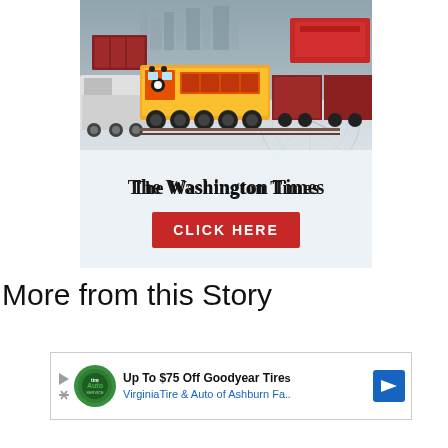[Figure (illustration): Advertisement banner for The Washington Times featuring a yellow freight train carrying cargo containers, a semi-truck on the left, and a red ship on the right, with a port city skyline in the background and engineering blueprint overlay. Below the image is the newspaper logo in blackletter font 'The Washington Times' and a red 'CLICK HERE' button.]
More from this Story
[Figure (illustration): Advertisement for Virginia Tire & Auto of Ashburn, offering up to $75 off Goodyear Tires. Features a green Tires Auto logo circle, ad text, and a blue arrow icon on the right.]